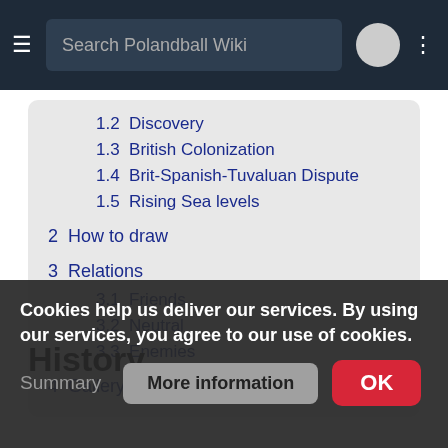Search Polandball Wiki
1.2 Discovery
1.3 British Colonization
1.4 Brit-Spanish-Tuvaluan Dispute
1.5 Rising Sea levels
2 How to draw
3 Relations
3.1 Friends
3.2 Neutral
3.3 Enemies
4 Gallery
History
Summary
Cookies help us deliver our services. By using our services, you agree to our use of cookies.